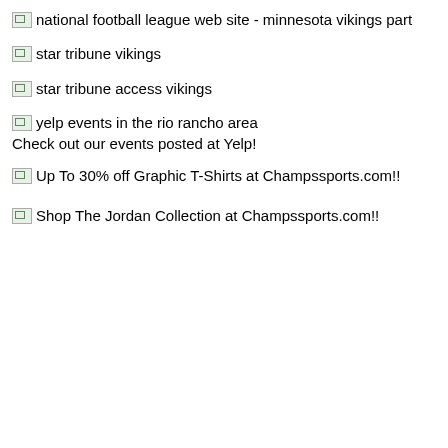national football league web site - minnesota vikings part
star tribune vikings
star tribune access vikings
yelp events in the rio rancho area
Check out our events posted at Yelp!
Up To 30% off Graphic T-Shirts at Champssports.com!!
Shop The Jordan Collection at Champssports.com!!
ie 'veteranMattCasselhasc l